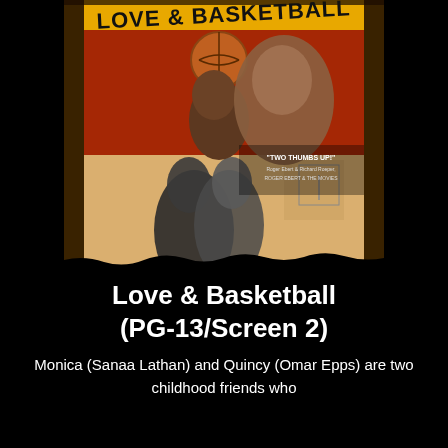[Figure (photo): Movie poster for Love & Basketball. Top portion shows the title 'LOVE & BASKETBALL' in handwritten-style lettering on a yellow/orange background. Features a man holding a basketball above his head and a woman beside him in color at the top, and a black-and-white image of a couple kissing in the lower portion of the poster. A quote reads 'TWO THUMBS UP! Roger Ebert & Richard Roeper, ROGER EBERT & THE MOVIES'.]
Love & Basketball (PG-13/Screen 2)
Monica (Sanaa Lathan) and Quincy (Omar Epps) are two childhood friends who